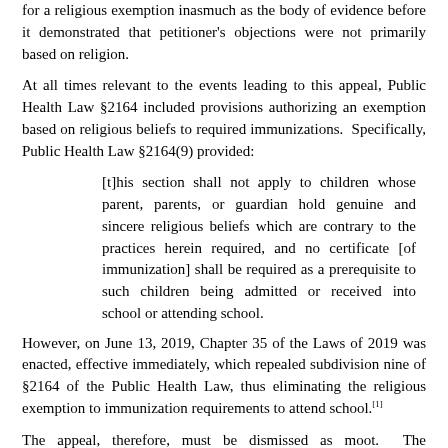for a religious exemption inasmuch as the body of evidence before it demonstrated that petitioner's objections were not primarily based on religion.
At all times relevant to the events leading to this appeal, Public Health Law §2164 included provisions authorizing an exemption based on religious beliefs to required immunizations.  Specifically, Public Health Law §2164(9) provided:
[t]his section shall not apply to children whose parent, parents, or guardian hold genuine and sincere religious beliefs which are contrary to the practices herein required, and no certificate [of immunization] shall be required as a prerequisite to such children being admitted or received into school or attending school.
However, on June 13, 2019, Chapter 35 of the Laws of 2019 was enacted, effective immediately, which repealed subdivision nine of §2164 of the Public Health Law, thus eliminating the religious exemption to immunization requirements to attend school.[1]
The appeal, therefore, must be dismissed as moot.  The Commissioner will only decide matters in actual controversy and will not render a decision on a state of facts which no longer exist.